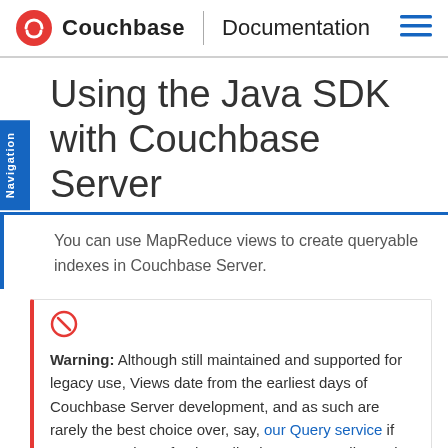Couchbase | Documentation
Using the Java SDK with Couchbase Server
You can use MapReduce views to create queryable indexes in Couchbase Server.
Warning: Although still maintained and supported for legacy use, Views date from the earliest days of Couchbase Server development, and as such are rarely the best choice over, say, our Query service if you are starting a fresh application. See our discussion document on the best service for you to